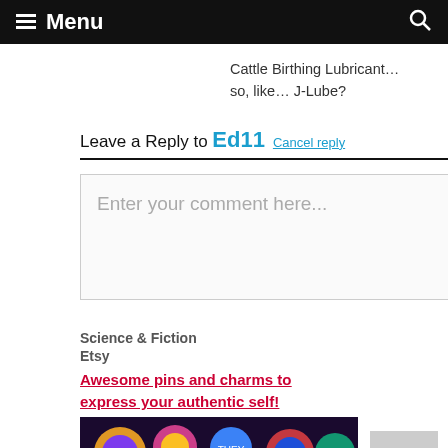Menu
Cattle Birthing Lubricant… so, like… J-Lube?
Leave a Reply to Ed11 Cancel reply
Enter your comment here...
Science & Fiction Etsy
Awesome pins and charms to express your authentic self!
[Figure (photo): Photo of colorful enamel pins including they/them pronoun pins and a hat character pin on a dark background]